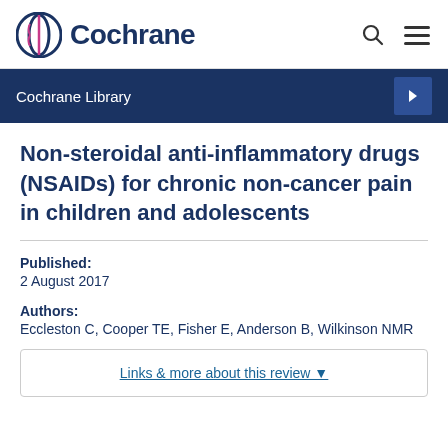Cochrane
Cochrane Library
Non-steroidal anti-inflammatory drugs (NSAIDs) for chronic non-cancer pain in children and adolescents
Published:
2 August 2017
Authors:
Eccleston C, Cooper TE, Fisher E, Anderson B, Wilkinson NMR
Links & more about this review ▼